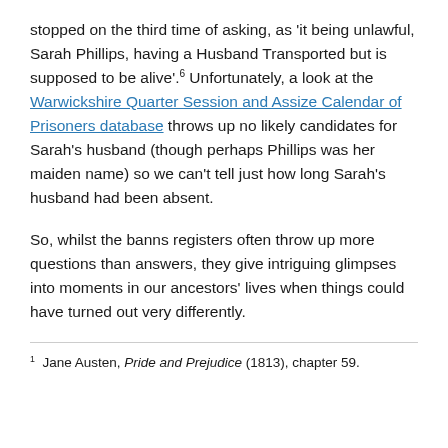stopped on the third time of asking, as 'it being unlawful, Sarah Phillips, having a Husband Transported but is supposed to be alive'.6 Unfortunately, a look at the Warwickshire Quarter Session and Assize Calendar of Prisoners database throws up no likely candidates for Sarah's husband (though perhaps Phillips was her maiden name) so we can't tell just how long Sarah's husband had been absent.
So, whilst the banns registers often throw up more questions than answers, they give intriguing glimpses into moments in our ancestors' lives when things could have turned out very differently.
1 Jane Austen, Pride and Prejudice (1813), chapter 59.